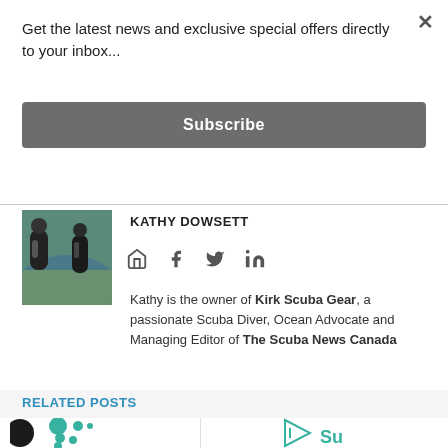Get the latest news and exclusive special offers directly to your inbox...
Subscribe
KATHY DOWSETT
[Figure (photo): Author photo of Kathy Dowsett in scuba diving gear on rocky shore]
[Figure (infographic): Social media icons: home, facebook, twitter, linkedin]
Kathy is the owner of Kirk Scuba Gear, a passionate Scuba Diver, Ocean Advocate and Managing Editor of The Scuba News Canada
RELATED POSTS
[Figure (logo): Partial logo with teal circles on left side]
[Figure (logo): Partial logo with teal arrow/triangle shape and text beginning with 'Su']